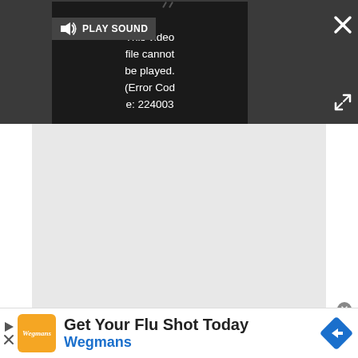[Figure (screenshot): Video player UI with dark background. Shows a speaker/sound icon and 'PLAY SOUND' text. A video error message reads 'This video file cannot be played. (Error Code: 224003)'. A close (X) button and fullscreen arrows are visible. Below the player is a light gray area (ad placeholder). At the bottom is a Wegmans flu shot advertisement with orange logo and blue navigation arrow icon.]